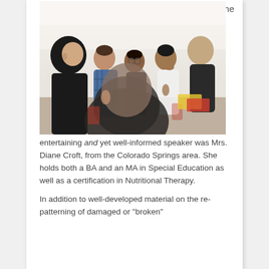The
[Figure (photo): A group of young adults seated in rows, listening attentively to a presentation or lecture. Several people are visible in profile, some holding papers or folders.]
entertaining and yet well-informed speaker was Mrs. Diane Croft, from the Colorado Springs area. She holds both a BA and an MA in Special Education as well as a certification in Nutritional Therapy.
In addition to well-developed material on the re-patterning of damaged or "broken"